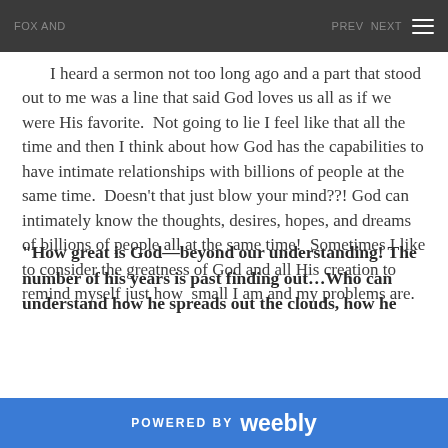POWERED BY weebly
I heard a sermon not too long ago and a part that stood out to me was a line that said God loves us all as if we were His favorite.  Not going to lie I feel like that all the time and then I think about how God has the capabilities to have intimate relationships with billions of people at the same time.  Doesn't that just blow your mind??! God can intimately know the thoughts, desires, hopes, and dreams of billions of people all at the same time!  Sometimes I like to consider the greatness of God and all His creation to remind myself just how  small I am and my problems are.
“How great is God—beyond our understanding! The number of his years is past finding out…Who can understand how he spreads out the clouds, how he
POWERED BY weebly